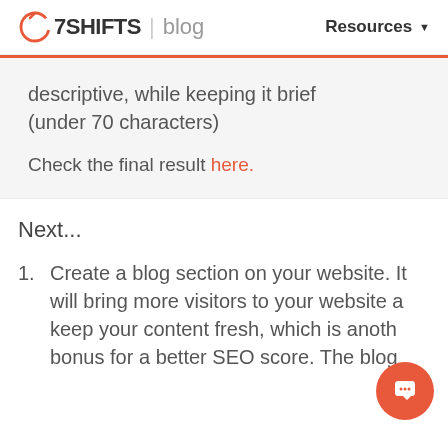7SHIFTS | blog    Resources
descriptive, while keeping it brief (under 70 characters)
Check the final result here.
Next...
1. Create a blog section on your website. It will bring more visitors to your website and keep your content fresh, which is another bonus for a better SEO score. The blog